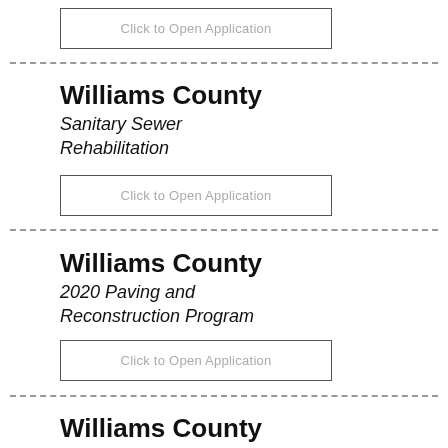Click to Open Application
Williams County
Sanitary Sewer Rehabilitation
Click to Open Application
Williams County
2020 Paving and Reconstruction Program
Click to Open Application
Williams County
Bridge and Culvert